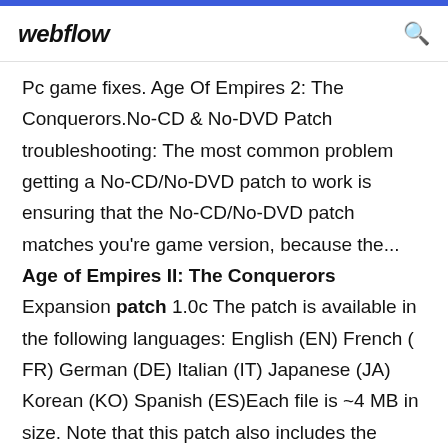webflow
Pc game fixes. Age Of Empires 2: The Conquerors.No-CD & No-DVD Patch troubleshooting: The most common problem getting a No-CD/No-DVD patch to work is ensuring that the No-CD/No-DVD patch matches you're game version, because the... Age of Empires II: The Conquerors Expansion patch 1.0c The patch is available in the following languages: English (EN) French ( FR) German (DE) Italian (IT) Japanese (JA) Korean (KO) Spanish (ES)Each file is ~4 MB in size. Note that this patch also includes the content and fixes from Patch v1.0b. Here is the full list of fixes Age of Empires II: Conquerors v1.0c French Patch file This is the latest official patch